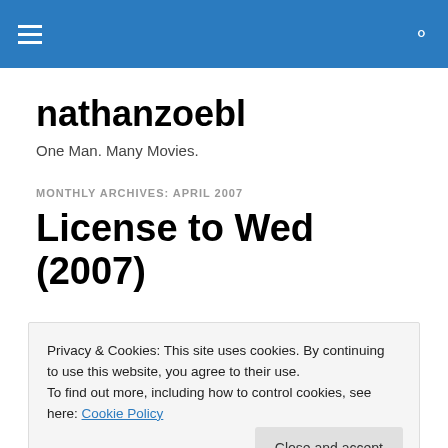nathanzoebl — One Man. Many Movies.
nathanzoebl
One Man. Many Movies.
MONTHLY ARCHIVES: APRIL 2007
License to Wed (2007)
Privacy & Cookies: This site uses cookies. By continuing to use this website, you agree to their use.
To find out more, including how to control cookies, see here: Cookie Policy